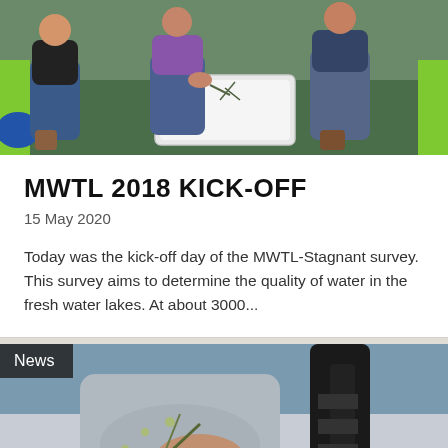[Figure (photo): People crouching on a boat examining a white container/bin with aquatic plants, wearing casual outdoor clothing]
MWTL 2018 KICK-OFF
15 May 2020
Today was the kick-off day of the MWTL-Stagnant survey. This survey aims to determine the quality of water in the fresh water lakes. At about 3000...
[Figure (photo): Close-up of a person holding aquatic plant samples near scientific equipment on a boat, with a 'News' label overlay]